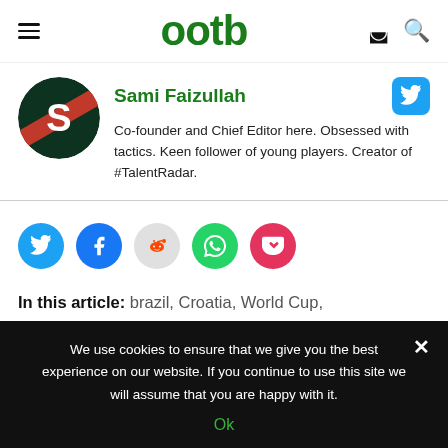ootb
Sami Faizullah
Co-founder and Chief Editor here. Obsessed with tactics. Keen follower of young players. Creator of #TalentRadar.
[Figure (illustration): Social share buttons: Twitter, Facebook, Reddit, WhatsApp, Pocket]
In this article: brazil, Croatia, World Cup,
We use cookies to ensure that we give you the best experience on our website. If you continue to use this site we will assume that you are happy with it.
Ok